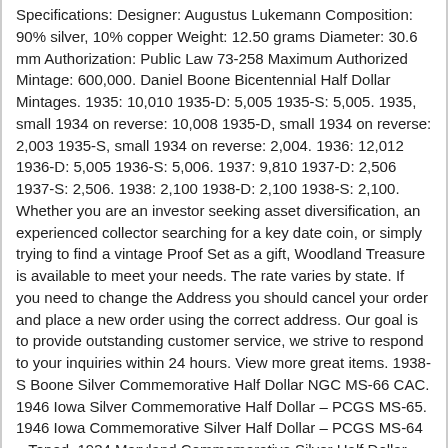Specifications: Designer: Augustus Lukemann Composition: 90% silver, 10% copper Weight: 12.50 grams Diameter: 30.6 mm Authorization: Public Law 73-258 Maximum Authorized Mintage: 600,000. Daniel Boone Bicentennial Half Dollar Mintages. 1935: 10,010 1935-D: 5,005 1935-S: 5,005. 1935, small 1934 on reverse: 10,008 1935-D, small 1934 on reverse: 2,003 1935-S, small 1934 on reverse: 2,004. 1936: 12,012 1936-D: 5,005 1936-S: 5,006. 1937: 9,810 1937-D: 2,506 1937-S: 2,506. 1938: 2,100 1938-D: 2,100 1938-S: 2,100. Whether you are an investor seeking asset diversification, an experienced collector searching for a key date coin, or simply trying to find a vintage Proof Set as a gift, Woodland Treasure is available to meet your needs. The rate varies by state. If you need to change the Address you should cancel your order and place a new order using the correct address. Our goal is to provide outstanding customer service, we strive to respond to your inquiries within 24 hours. View more great items. 1938-S Boone Silver Commemorative Half Dollar NGC MS-66 CAC. 1946 Iowa Silver Commemorative Half Dollar – PCGS MS-65. 1946 Iowa Commemorative Silver Half Dollar – PCGS MS-64 – Toned. 1934 Maryland Commemorative Silver Half Dollar – ANACS Mint State 65- MS-65. This listing is currently undergoing